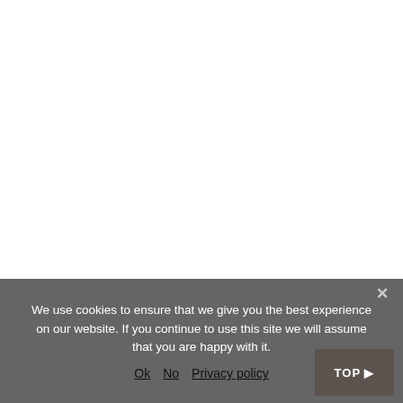We use cookies to ensure that we give you the best experience on our website. If you continue to use this site we will assume that you are happy with it.
Ok  No  Privacy policy